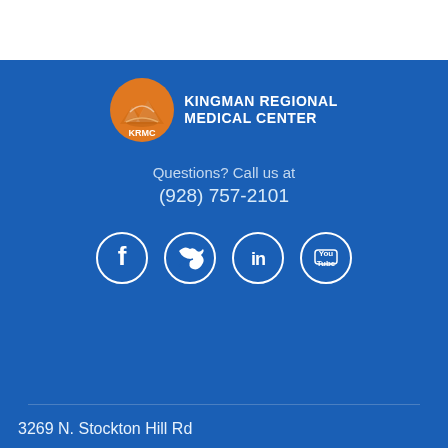[Figure (logo): Kingman Regional Medical Center logo: orange circle with KRMC text and mountain/road graphic, next to bold white text KINGMAN REGIONAL MEDICAL CENTER]
Questions? Call us at
(928) 757-2101
[Figure (infographic): Four social media icons in white circles on blue background: Facebook (f), Twitter (bird), LinkedIn (in), YouTube (You Tube)]
3269 N. Stockton Hill Rd
Kingman, AZ 86409
(928) 757-2101